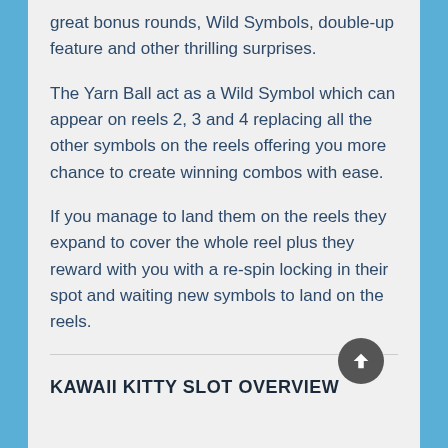great bonus rounds, Wild Symbols, double-up feature and other thrilling surprises.
The Yarn Ball act as a Wild Symbol which can appear on reels 2, 3 and 4 replacing all the other symbols on the reels offering you more chance to create winning combos with ease.
If you manage to land them on the reels they expand to cover the whole reel plus they reward with you with a re-spin locking in their spot and waiting new symbols to land on the reels.
KAWAII KITTY SLOT OVERVIEW